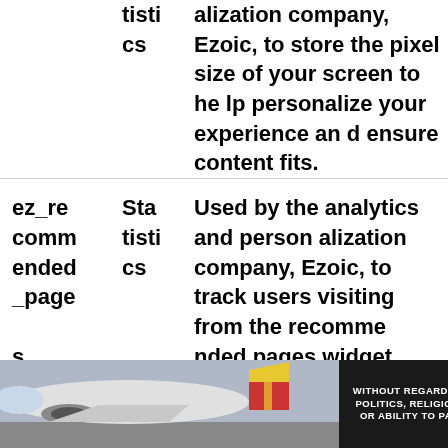| Cookie Name | Category | Description |
| --- | --- | --- |
| tistics |  | alization company, Ezoic, to store the pixel size of your screen to help personalize your experience and ensure content fits. |
| ez_recommended_pages | Statistics | Used by the analytics and personalization company, Ezoic, to track users visiting from the recommended pages widget. |
| AMP_ | Sta | Used by personalization and anal |
[Figure (photo): Advertisement banner showing cargo aircraft with colorful tail livery and a dark text box reading 'WITHOUT REGARD TO POLITICS, RELIGION, OR ABILITY TO PAY']